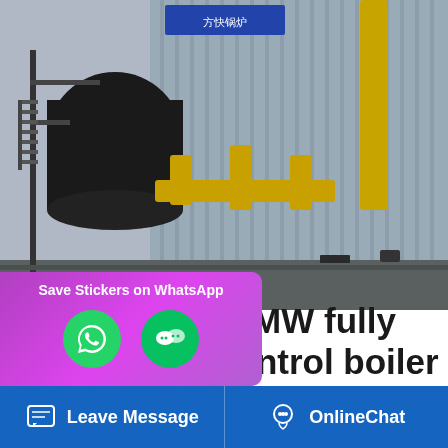[Figure (photo): Industrial boiler system with large black cylindrical boiler tank, yellow pipes and fittings, metal framework, corrugated metal wall cladding in background, outdoor industrial facility]
Best sell 0 7 MW fully automatic control boiler export to
① The SZS fully automatic oil and gas fired steam boilers from 4t/h to 75t/h, hot water boilers from 4.2MW to 70MW. ② The WNS fully automatic oil and gas fired steam boilers from 1t/h to hot water boilers from 0.7MW to 14MW . ③ DHS(TG) industrial boilers for various capacities based on the introduced
[Figure (screenshot): WhatsApp sticker save popup with phone and emoji icons on purple/pink gradient background]
Leave Message   OnlineChat